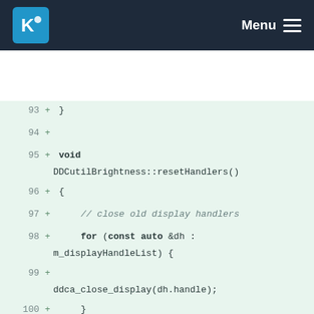KDE Menu
[Figure (screenshot): Code diff view showing lines 93-107 of DDCutilBrightness::resetHandlers() function with green added lines on light green background]
93 + }
94 +
95 + void DDCutilBrightness::resetHandlers()
96 + {
97 +     // close old display handlers
98 +     for (const auto &dh : m_displayHandleList) {
99 +
        ddca_close_display(dh.handle);
100 +     }
101 +
102 +     m_displayHandleList.clear();
103 +     m_supportedVcp_perDisp.clear();
104 +
105 +     // if prev m_dlist is presented - close, to prevent memory leaks
106 +     if (m_dlist) {
107 +
        ddca_free_display_info_list(m_dlist)